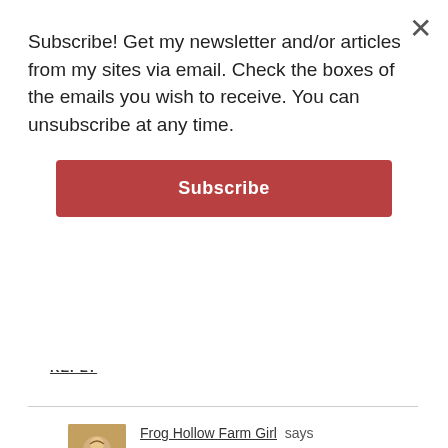Subscribe! Get my newsletter and/or articles from my sites via email. Check the boxes of the emails you wish to receive. You can unsubscribe at any time.
Subscribe
REPLY
Frog Hollow Farm Girl says
December 22, 2010 at 8:08 pm
Merry Christmas greetings from Frog Hollow Farm! This is so funny because I have a small bar of Venchi chocolate in front of me right now, purchased at Eataly in NYC the other day! It's the gianduja nocciolato fondente and I can't wait to open it! I love